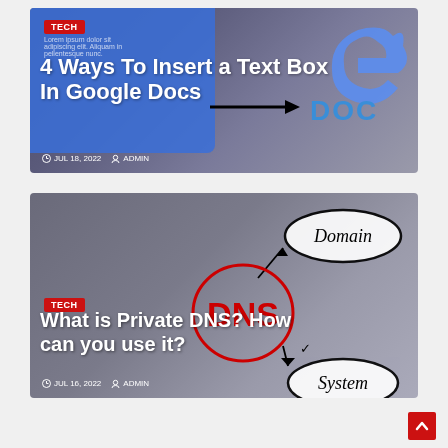[Figure (screenshot): Article card for '4 Ways To Insert a Text Box In Google Docs' with blue overlay, TECH badge, lorem ipsum text, date JUL 18 2022, ADMIN, and Google Docs logo with arrow]
[Figure (screenshot): Article card for 'What is Private DNS? How can you use it?' with TECH badge, DNS diagram showing Domain, DNS, System ovals with arrows, date JUL 16 2022, ADMIN]